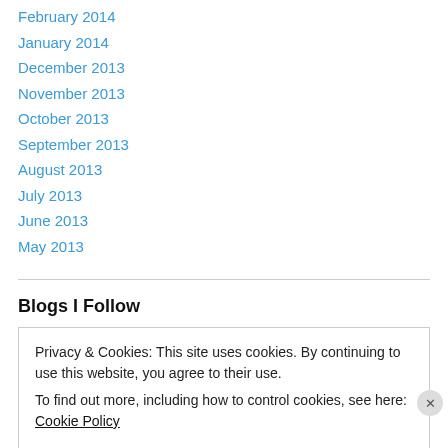February 2014
January 2014
December 2013
November 2013
October 2013
September 2013
August 2013
July 2013
June 2013
May 2013
Blogs I Follow
Privacy & Cookies: This site uses cookies. By continuing to use this website, you agree to their use.
To find out more, including how to control cookies, see here: Cookie Policy